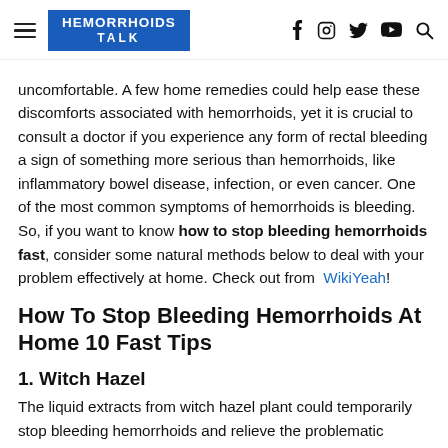HEMORRHOIDS TALK
uncomfortable. A few home remedies could help ease these discomforts associated with hemorrhoids, yet it is crucial to consult a doctor if you experience any form of rectal bleeding a sign of something more serious than hemorrhoids, like inflammatory bowel disease, infection, or even cancer. One of the most common symptoms of hemorrhoids is bleeding. So, if you want to know how to stop bleeding hemorrhoids fast, consider some natural methods below to deal with your problem effectively at home. Check out from WikiYeah!
How To Stop Bleeding Hemorrhoids At Home 10 Fast Tips
1. Witch Hazel
The liquid extracts from witch hazel plant could temporarily stop bleeding hemorrhoids and relieve the problematic